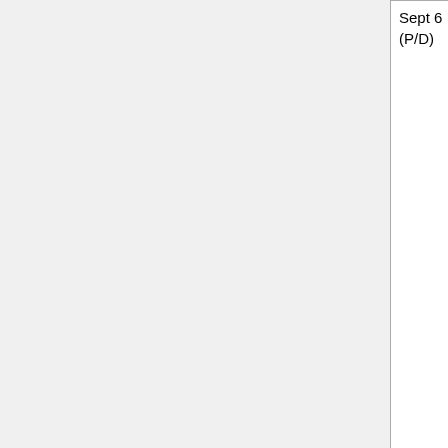| Date | Topic | Presenter(s) | Discussion Lead(s) |
| --- | --- | --- | --- |
| Sept 6 (P/D) | Suggested Papers: Tenaillon et al. 2016 | Phillips et al., 2016 | Lindsey et al., 2013 | Plucain et al., 2013 | Qiaoshan Lin | Stankov... |
| Th Sept 8 (L) Tu Sept 13 (P/D) | Experimental Evolution (eukaryotes) (EJ) | P1: Jacob Kasper
P2: Amy LaFountain | D1: Sam Hurley
D2: Lisa Terlova... |
| Th Sept 15 (L) | Adaptation | P1: Kevin Bieger | D1: Am... LaFoun... |